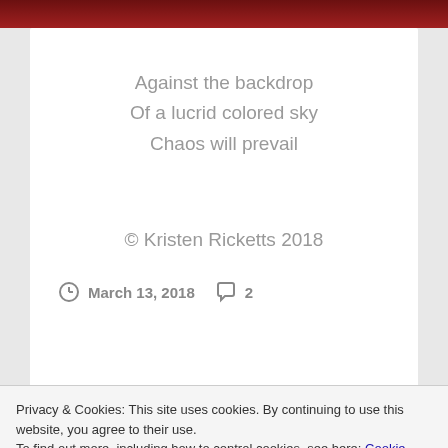[Figure (other): Dark red gradient top banner bar]
Against the backdrop
Of a lucrid colored sky
Chaos will prevail
© Kristen Ricketts 2018
March 13, 2018   2
Privacy & Cookies: This site uses cookies. By continuing to use this website, you agree to their use.
To find out more, including how to control cookies, see here: Cookie Policy
Close and accept